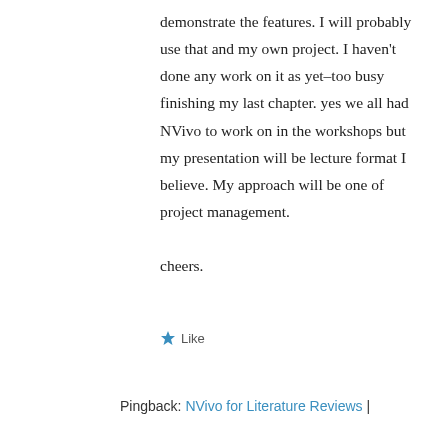demonstrate the features. I will probably use that and my own project. I haven't done any work on it as yet–too busy finishing my last chapter. yes we all had NVivo to work on in the workshops but my presentation will be lecture format I believe. My approach will be one of project management.
cheers.
★ Like
Pingback: NVivo for Literature Reviews |